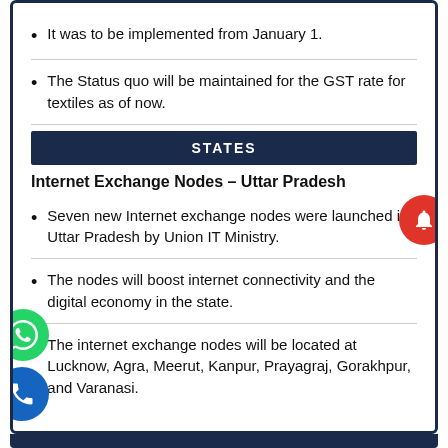It was to be implemented from January 1.
The Status quo will be maintained for the GST rate for textiles as of now.
STATES
Internet Exchange Nodes – Uttar Pradesh
Seven new Internet exchange nodes were launched in Uttar Pradesh by Union IT Ministry.
The nodes will boost internet connectivity and the digital economy in the state.
The internet exchange nodes will be located at Lucknow, Agra, Meerut, Kanpur, Prayagraj, Gorakhpur, and Varanasi.